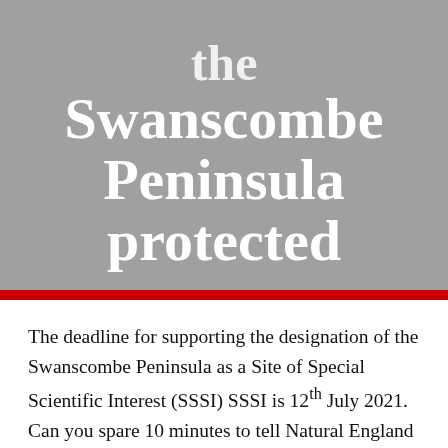the Swanscombe Peninsula protected
The deadline for supporting the designation of the Swanscombe Peninsula as a Site of Special Scientific Interest (SSSI) SSSI is 12th July 2021. Can you spare 10 minutes to tell Natural England that you agree that this nationally important wildlife site should be protected?